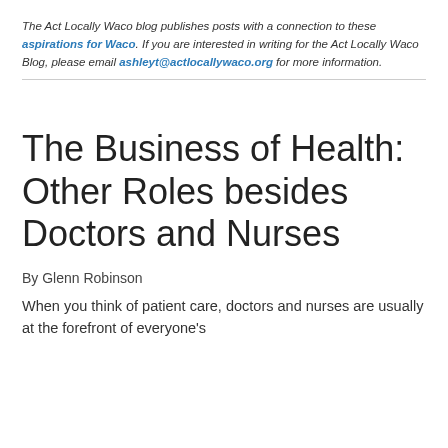The Act Locally Waco blog publishes posts with a connection to these aspirations for Waco. If you are interested in writing for the Act Locally Waco Blog, please email ashleyt@actlocallywaco.org for more information.
The Business of Health: Other Roles besides Doctors and Nurses
By Glenn Robinson
When you think of patient care, doctors and nurses are usually at the forefront of everyone's